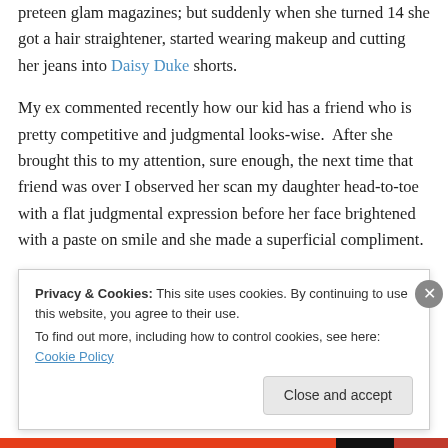preteen glam magazines; but suddenly when she turned 14 she got a hair straightener, started wearing makeup and cutting her jeans into Daisy Duke shorts.
My ex commented recently how our kid has a friend who is pretty competitive and judgmental looks-wise.  After she brought this to my attention, sure enough, the next time that friend was over I observed her scan my daughter head-to-toe with a flat judgmental expression before her face brightened with a paste on smile and she made a superficial compliment.
Privacy & Cookies: This site uses cookies. By continuing to use this website, you agree to their use. To find out more, including how to control cookies, see here: Cookie Policy